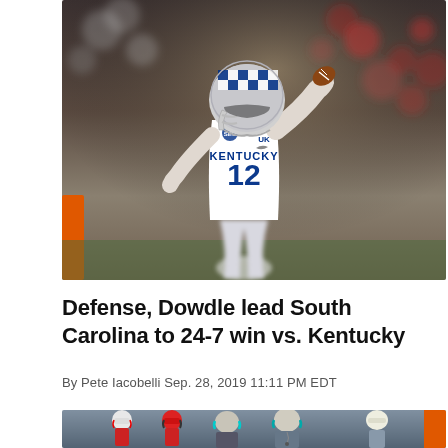[Figure (photo): Kentucky quarterback #12 in white uniform with blue checkered helmet preparing to throw a pass, with blurred crowd in background and orange pylon visible at lower left]
Defense, Dowdle lead South Carolina to 24-7 win vs. Kentucky
By Pete Iacobelli Sep. 28, 2019 11:11 PM EDT
[Figure (photo): Coaches on sideline with headsets, crowd visible in background, orange pylon visible at right edge]